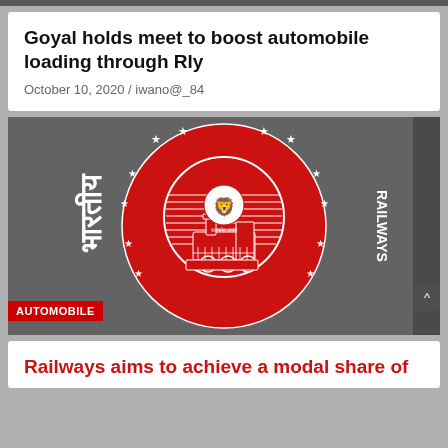Goyal holds meet to boost automobile loading through Rly
October 10, 2020 / iwano@_84
[Figure (logo): Indian Railways official logo on red circular background with Hindi text 'भारतीय' on left, 'RAILWAYS' on right, steam locomotive and Ashoka emblem in center, stars around the border]
AUTOMOBILE
Railways aims to achieve a modal share of